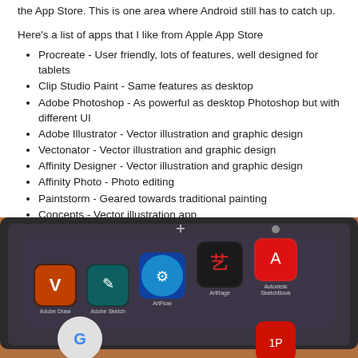the App Store. This is one area where Android still has to catch up.
Here's a list of apps that I like from Apple App Store
Procreate - User friendly, lots of features, well designed for tablets
Clip Studio Paint - Same features as desktop
Adobe Photoshop - As powerful as desktop Photoshop but with different UI
Adobe Illustrator - Vector illustration and graphic design
Vectonator - Vector illustration and graphic design
Affinity Designer - Vector illustration and graphic design
Affinity Photo - Photo editing
Paintstorm - Geared towards traditional painting
Concepts - Vector illustration app
Adobe Lightroom - Photo editing
[Figure (photo): Close-up photo of a tablet screen showing various creative app icons including Adobe Draw, Adobe Sketch, ArtFlow, ArtRage, Autodesk SketchBook, and others on a dark interface, placed on a wooden surface.]